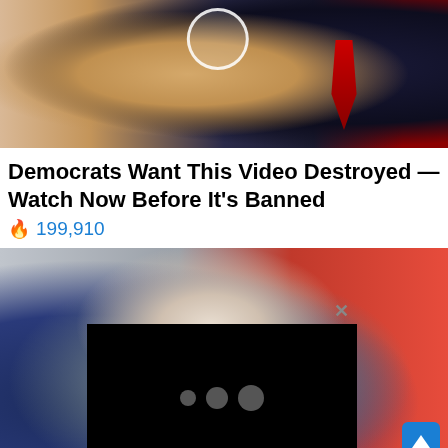[Figure (photo): Photo of a woman with blonde hair wearing white and a man in a dark suit with a red tie, with a white circle overlay (play button)]
Democrats Want This Video Destroyed — Watch Now Before It's Banned
🔥 199,910
[Figure (photo): Photo of Mike Pence in a dark suit standing in front of a red and grey background, with a black video loading overlay showing three grey dots, an X close button, and a blue scroll-to-top arrow button]